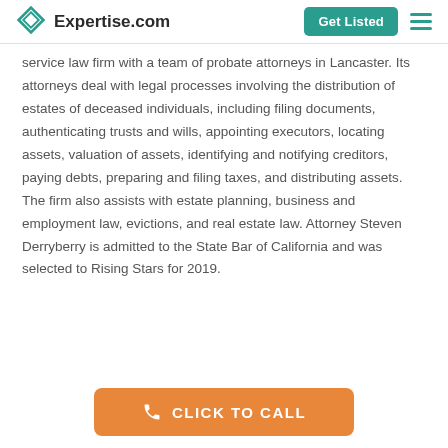Expertise.com | Get Listed
service law firm with a team of probate attorneys in Lancaster. Its attorneys deal with legal processes involving the distribution of estates of deceased individuals, including filing documents, authenticating trusts and wills, appointing executors, locating assets, valuation of assets, identifying and notifying creditors, paying debts, preparing and filing taxes, and distributing assets. The firm also assists with estate planning, business and employment law, evictions, and real estate law. Attorney Steven Derryberry is admitted to the State Bar of California and was selected to Rising Stars for 2019.
[Figure (other): Orange CLICK TO CALL button with phone icon]